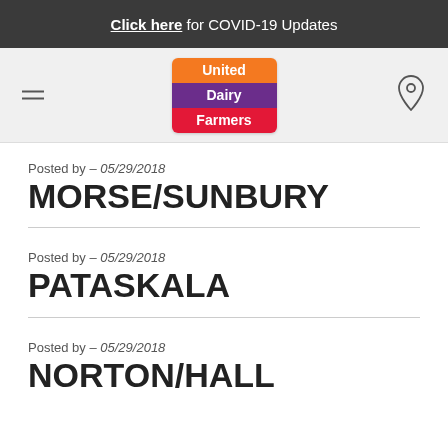Click here for COVID-19 Updates
[Figure (logo): United Dairy Farmers logo with three horizontal colored bands: orange (United), purple (Dairy), red (Farmers)]
Posted by – 05/29/2018
MORSE/SUNBURY
Posted by – 05/29/2018
PATASKALA
Posted by – 05/29/2018
NORTON/HALL